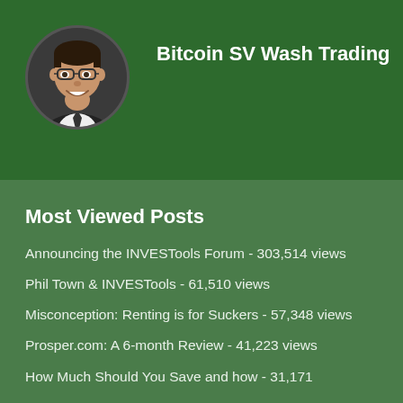[Figure (photo): Circular profile photo of a man wearing glasses and a suit, smiling]
Bitcoin SV Wash Trading
Most Viewed Posts
Announcing the INVESTools Forum - 303,514 views
Phil Town & INVESTools - 61,510 views
Misconception: Renting is for Suckers - 57,348 views
Prosper.com: A 6-month Review - 41,223 views
How Much Should You Save and how - 31,171